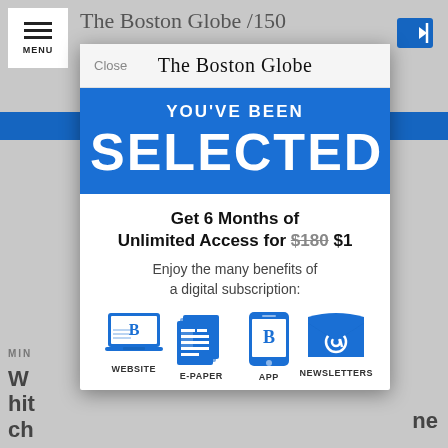[Figure (screenshot): Screenshot of a Boston Globe website page with a subscription modal overlay. The background shows a partially visible news article and navigation bar. A modal dialog in the center shows 'YOU'VE BEEN SELECTED' on a blue banner, an offer for 6 months unlimited access for $1 (crossed out $180), and icons for WEBSITE, E-PAPER, APP, and NEWSLETTERS.]
The Boston Globe
YOU'VE BEEN
SELECTED
Get 6 Months of Unlimited Access for $180 $1
Enjoy the many benefits of a digital subscription:
WEBSITE E-PAPER APP NEWSLETTERS